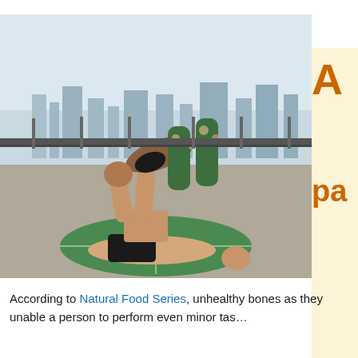[Figure (photo): Two people performing acro-yoga on a rooftop with a city skyline in the background. One person lies on a green circular mat lifting the other person with their feet, who is posed in a backbend above.]
According to Natural Food Series, unhealthy bones as they unable a person to perform even minor tas… (continues)